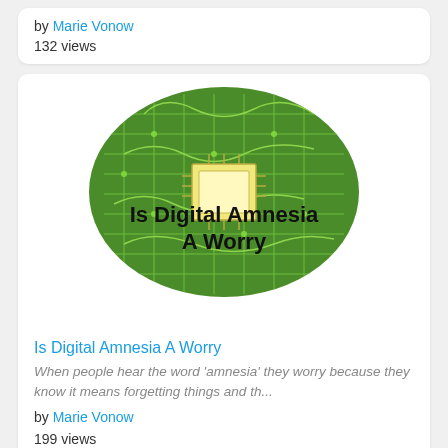by Marie Vonow
132 views
[Figure (illustration): Circuit board brain illustration with text overlay 'Is Digital Amnesia A Worry']
Is Digital Amnesia A Worry
When people hear the word 'amnesia' they worry because they know it means forgetting things and th...
by Marie Vonow
199 views
More Articles by Marie Vonow